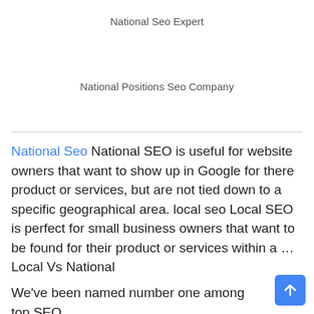National Seo Expert
National Positions Seo Company
National Seo National SEO is useful for website owners that want to show up in Google for there product or services, but are not tied down to a specific geographical area. local seo Local SEO is perfect for small business owners that want to be found for their product or services within a … Local Vs National
We've been named number one among top SEO